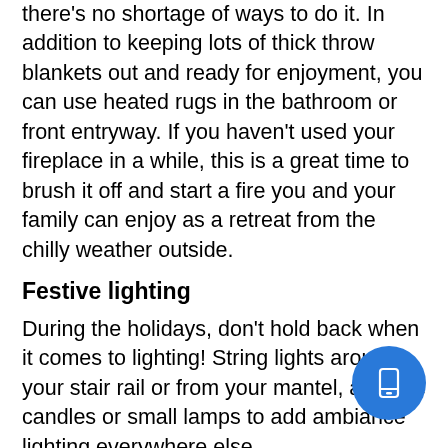there's no shortage of ways to do it. In addition to keeping lots of thick throw blankets out and ready for enjoyment, you can use heated rugs in the bathroom or front entryway. If you haven't used your fireplace in a while, this is a great time to brush it off and start a fire you and your family can enjoy as a retreat from the chilly weather outside.
Festive lighting
During the holidays, don't hold back when it comes to lighting! String lights around your stair rail or from your mantel, and use candles or small lamps to add ambiance lighting everywhere else.
Classic decorations
You can't forget about the classic holiday decorations this season. Break out your tin figurines and kid crafts to add some holiday cheer to your home this year.
Window f...